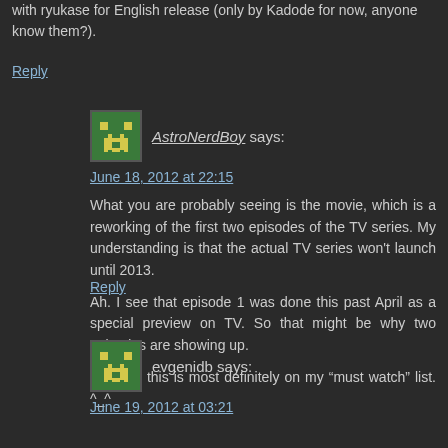with ryukase for English release (only by Kadode for now, anyone know them?).
Reply
AstroNerdBoy says:
June 18, 2012 at 22:15
What you are probably seeing is the movie, which is a reworking of the first two episodes of the TV series. My understanding is that the actual TV series won't launch until 2013.
Ah. I see that episode 1 was done this past April as a special preview on TV. So that might be why two episodes are showing up.
Anyway, this is most definitely on my “must watch” list. ^_^
Reply
evgenidb says:
June 19, 2012 at 03:21